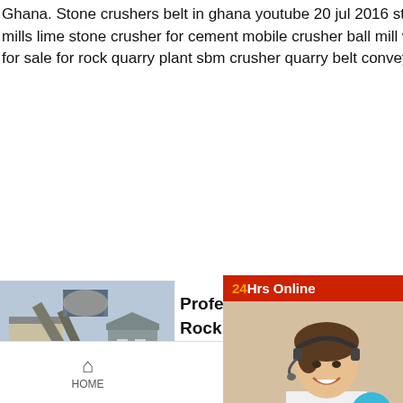Ghana. Stone crushers belt in ghana youtube 20 jul 2016 stone crusher system in cement mills lime stone crusher for cement mobile crusher ball mill washer machine belt conveyor for sale for rock quarry plant sbm crusher quarry belt conveyor there are this typ
[Figure (photo): Photo of an industrial stone crusher / quarry plant facility with machinery and structures]
Professional Rock Crusher In
Moible Crusher Fo...
[Figure (photo): Customer service operator with headset, 24Hrs Online panel overlay with chat now and enquiry options]
Processing. The red colour usually allows you to... distance: iron ore. The volcanic rock is mainly us... manufacture of steel. India has vast reserves of i...
HOME   PROUDCTS   NEWS   limingjlmofen